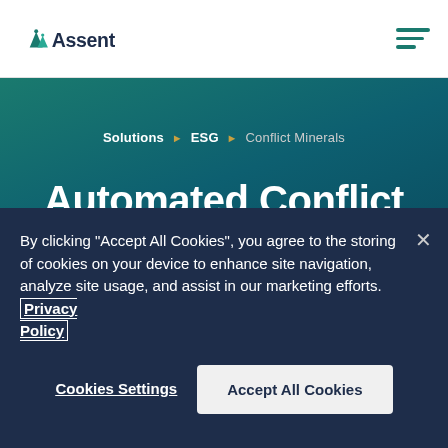Assent
Solutions ► ESG ► Conflict Minerals
Automated Conflict Minerals Reporting
Conflict mineral regulations aim to thwart
By clicking "Accept All Cookies", you agree to the storing of cookies on your device to enhance site navigation, analyze site usage, and assist in our marketing efforts. Privacy Policy
Cookies Settings
Accept All Cookies